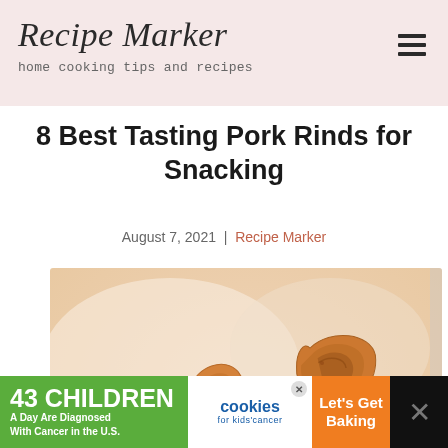Recipe Marker
home cooking tips and recipes
8 Best Tasting Pork Rinds for Snacking
August 7, 2021 | Recipe Marker
[Figure (photo): Photo of crispy pork rinds in a bowl, close-up shot with warm golden tones]
43 CHILDREN A Day Are Diagnosed With Cancer in the U.S. | cookies for kids' cancer | Let's Get Baking